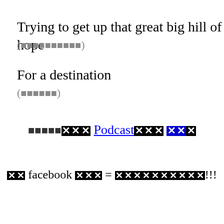Trying to get up that great big hill of hope
(■■■■■■■■■■)
For a destination
(■■■■■■)
■■■■■■■ Podcast■■■ ■■■
■■ facebook ■■■ = ■■■■■■■■■■!!!